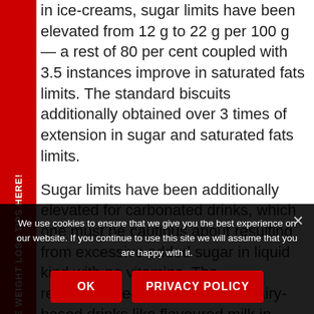in ice-creams, sugar limits have been elevated from 12 g to 22 g per 100 g — a rest of 80 per cent coupled with 3.5 instances improve in saturated fats limits. The standard biscuits additionally obtained over 3 times of extension in sugar and saturated fats limits.
Sugar limits have been additionally elevated for carbonated drinks, which one must be cautious about resulting from excessive added sugar in liquid kind with no vitamins. The recommended sugar limits for dairy-based drinks like flavoured milk in addition to for jam
E Weight Loss Tips Here!
We use cookies to ensure that we give you the best experience on our website. If you continue to use this site we will assume that you are happy with it.